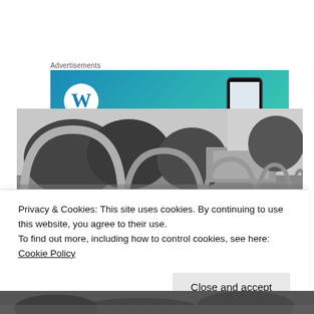Advertisements
[Figure (photo): WordPress advertisement banner with blue-teal gradient background, WordPress logo (white circle with W) on the left and a smartphone on the right]
[Figure (photo): Black and white photograph of a row of metal bicycle rack arches in a park or outdoor area, with trees and a building visible in the background]
Privacy & Cookies: This site uses cookies. By continuing to use this website, you agree to their use.
To find out more, including how to control cookies, see here: Cookie Policy
Close and accept
[Figure (photo): Black and white photograph (bottom portion), partial view of outdoor scene]